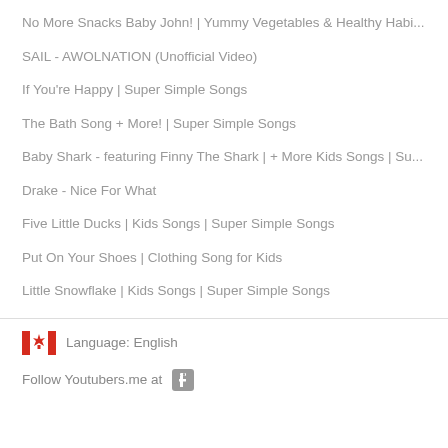No More Snacks Baby John! | Yummy Vegetables & Healthy Habi...
SAIL - AWOLNATION (Unofficial Video)
If You're Happy | Super Simple Songs
The Bath Song + More! | Super Simple Songs
Baby Shark - featuring Finny The Shark | + More Kids Songs | Su...
Drake - Nice For What
Five Little Ducks | Kids Songs | Super Simple Songs
Put On Your Shoes | Clothing Song for Kids
Little Snowflake | Kids Songs | Super Simple Songs
Language: English
Follow Youtubers.me at